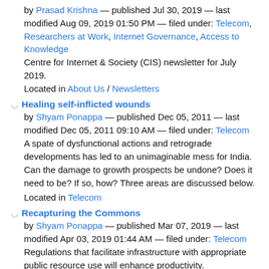by Prasad Krishna — published Jul 30, 2019 — last modified Aug 09, 2019 01:50 PM — filed under: Telecom, Researchers at Work, Internet Governance, Access to Knowledge
Centre for Internet & Society (CIS) newsletter for July 2019.
Located in About Us / Newsletters
Healing self-inflicted wounds
by Shyam Ponappa — published Dec 05, 2011 — last modified Dec 05, 2011 09:10 AM — filed under: Telecom
A spate of dysfunctional actions and retrograde developments has led to an unimaginable mess for India. Can the damage to growth prospects be undone? Does it need to be? If so, how? Three areas are discussed below.
Located in Telecom
Recapturing the Commons
by Shyam Ponappa — published Mar 07, 2019 — last modified Apr 03, 2019 01:44 AM — filed under: Telecom
Regulations that facilitate infrastructure with appropriate public resource use will enhance productivity.
Located in Telecom / Blog
BIF conference on “Substitutability of OTT Services with Telecom Services & Regulation of OTT Services